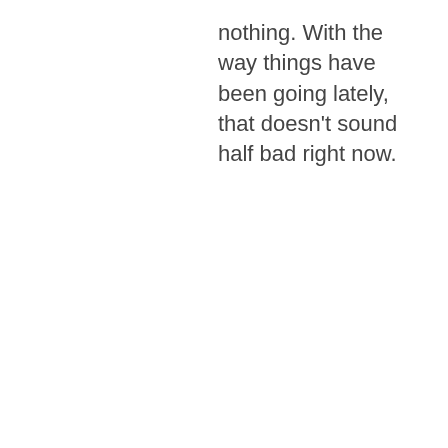nothing. With the way things have been going lately, that doesn't sound half bad right now.
REPLY
[Figure (photo): Circular avatar photo of a man, dark clothing, looking slightly to the side]
JUNE 28,